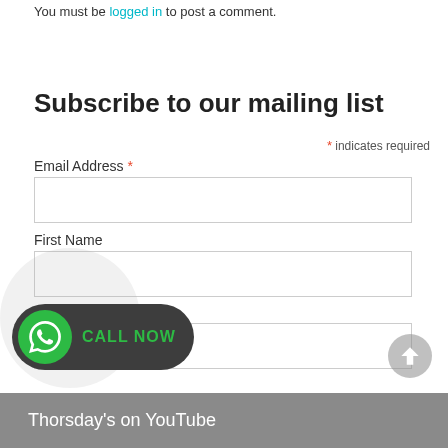You must be logged in to post a comment.
Subscribe to our mailing list
* indicates required
Email Address *
First Name
Last Name
[Figure (infographic): CALL NOW button with WhatsApp icon (green circle with phone icon) on dark rounded rectangle background]
Thorsday's on YouTube